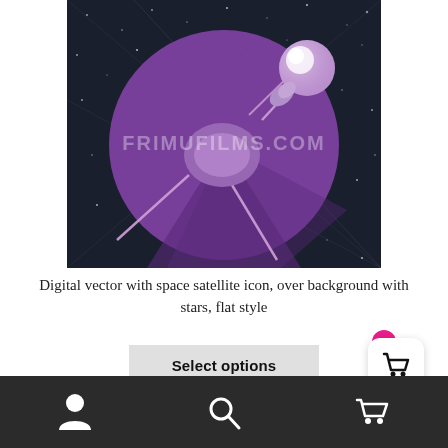[Figure (illustration): Flat style digital vector illustration of a Sputnik-style space satellite icon in purple/lavender tones on a dark starfield background, inside a large purple circle. A watermark reads FRIMUFILMS.COM across the center.]
Digital vector with space satellite icon, over background with stars, flat style
Select options